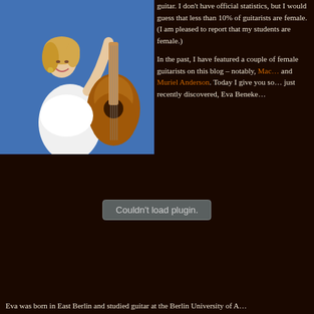[Figure (photo): Woman in white tank top posing with a classical acoustic guitar against a blue background, smiling with arm raised]
guitar. I don't have official statistics, but I would guess that less than 10% of guitarists are female. (I am pleased to report that my students are female.)
In the past, I have featured a couple of female guitarists on this blog – notably, Mac… and Muriel Anderson. Today I give you so… just recently discovered, Eva Beneke…
[Figure (other): Couldn't load plugin. – media plugin placeholder/error box]
Eva was born in East Berlin and studied guitar at the Berlin University of A…